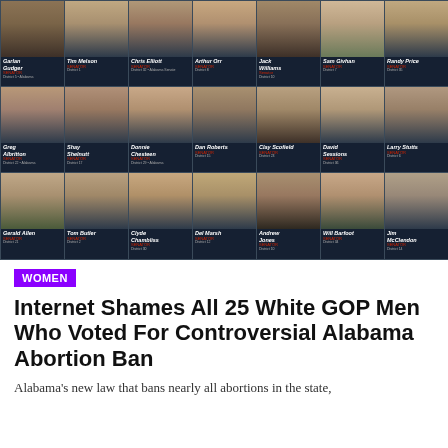[Figure (photo): Grid of 21 headshot photos of white GOP men who voted for the Alabama abortion ban, arranged in 3 rows of 7. Each photo shows a man's portrait with a name plate below containing their name and title in white/red text on dark background. Names include: Garlan Gudger, Tim Melson, Chris Elliott, Arthur Orr, Jack Williams, Sam Givhan, Randy Price (Row 1); Greg Albritton, Shay Shelnutt, Donnie Chesteen, Dan Roberts, Clay Scofield, David Sessions, Larry Stutts (Row 2); Gerald Allen, Tom Butler, Clyde Chambliss, Del Marsh, Andrew Jones, Will Barfoot, Jim McClendon (Row 3).]
WOMEN
Internet Shames All 25 White GOP Men Who Voted For Controversial Alabama Abortion Ban
Alabama's new law that bans nearly all abortions in the state,